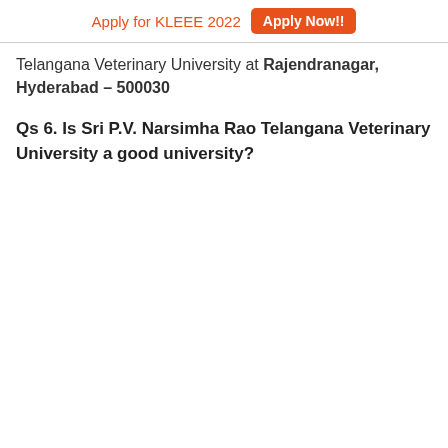Apply for KLEEE 2022  Apply Now!!
Telangana Veterinary University at Rajendranagar, Hyderabad – 500030
Qs 6. Is Sri P.V. Narsimha Rao Telangana Veterinary University a good university?